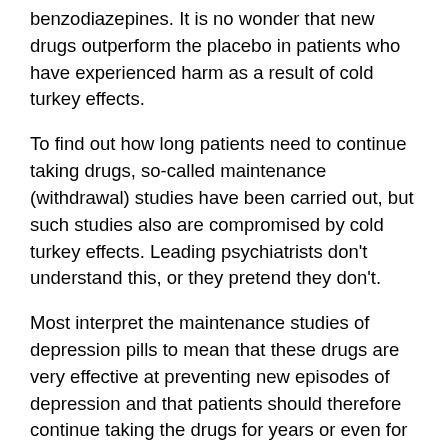benzodiazepines. It is no wonder that new drugs outperform the placebo in patients who have experienced harm as a result of cold turkey effects.
To find out how long patients need to continue taking drugs, so-called maintenance (withdrawal) studies have been carried out, but such studies also are compromised by cold turkey effects. Leading psychiatrists don't understand this, or they pretend they don't.
Most interpret the maintenance studies of depression pills to mean that these drugs are very effective at preventing new episodes of depression and that patients should therefore continue taking the drugs for years or even for life."
Scientific Literature Supports Reality